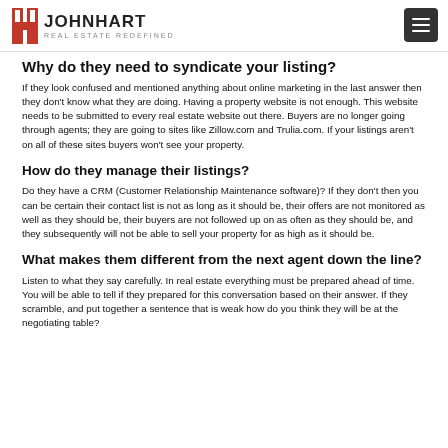John Hart Real Estate Redefined
Why do they need to syndicate your listing?
If they look confused and mentioned anything about online marketing in the last answer then they don't know what they are doing. Having a property website is not enough. This website needs to be submitted to every real estate website out there. Buyers are no longer going through agents; they are going to sites like Zillow.com and Trulia.com. If your listings aren't on all of these sites buyers won't see your property.
How do they manage their listings?
Do they have a CRM (Customer Relationship Maintenance software)? If they don't then you can be certain their contact list is not as long as it should be, their offers are not monitored as well as they should be, their buyers are not followed up on as often as they should be, and they subsequently will not be able to sell your property for as high as it should be.
What makes them different from the next agent down the line?
Listen to what they say carefully. In real estate everything must be prepared ahead of time. You will be able to tell if they prepared for this conversation based on their answer. If they scramble, and put together a sentence that is weak how do you think they will be at the negotiating table?